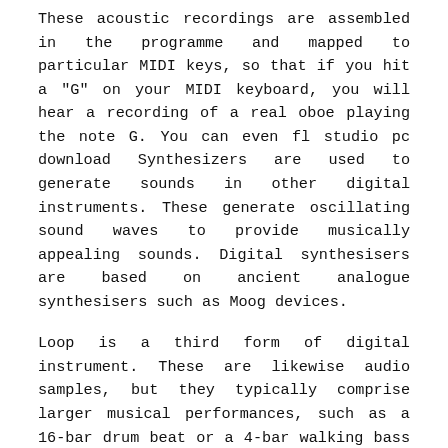These acoustic recordings are assembled in the programme and mapped to particular MIDI keys, so that if you hit a "G" on your MIDI keyboard, you will hear a recording of a real oboe playing the note G. You can even fl studio pc download Synthesizers are used to generate sounds in other digital instruments. These generate oscillating sound waves to provide musically appealing sounds. Digital synthesisers are based on ancient analogue synthesisers such as Moog devices.
Loop is a third form of digital instrument. These are likewise audio samples, but they typically comprise larger musical performances, such as a 16-bar drum beat or a 4-bar walking bass line. You can insert loops into your DAW session and have them replay as you layer instruments on top of them.